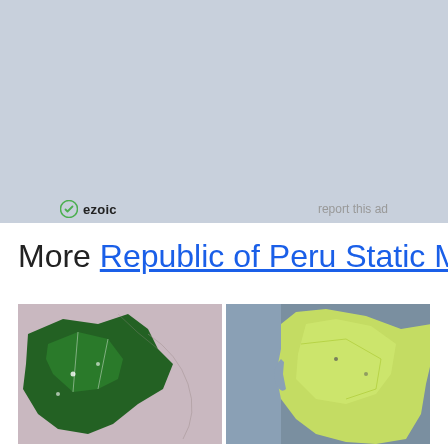[Figure (other): Gray advertisement placeholder block]
ezoic   report this ad
More Republic of Peru Static Maps
[Figure (map): Map thumbnail showing a region with dark green highlighted area on light purple/pink background]
[Figure (map): Map thumbnail showing a region with yellow-green highlighted area on gray/blue background]